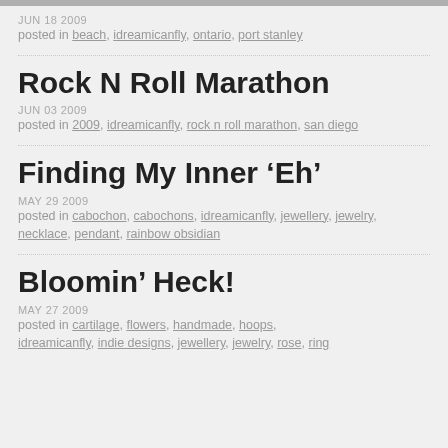JUN 18 2009
posted in beach, idreamicanfly, ontario, port stanley
Rock N Roll Marathon
JUN 03 2009
posted in 2009, idreamicanfly, rock n roll marathon, san diego
Finding My Inner ‘Eh’
MAY 29 2009
posted in cabochon, cabochons, idreamicanfly, jewellery, jewelry, necklace, pendant, rainbow obsidian
Bloomin’ Heck!
MAY 27 2009
posted in cartilage, flowers, handmade, hoops, idreamicanfly, indie designs, jewellery, jewelry, rose, ring